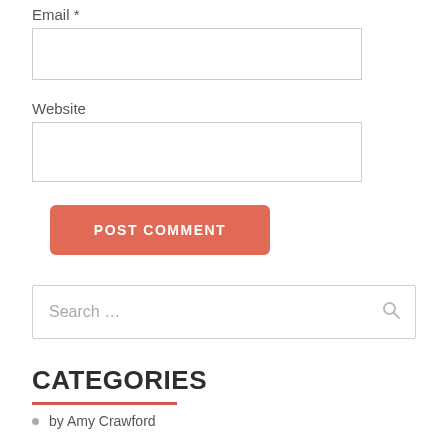Email *
Website
POST COMMENT
Search …
CATEGORIES
by Amy Crawford